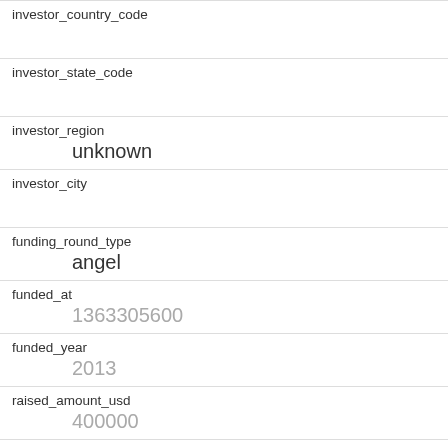| Field | Value |
| --- | --- |
| investor_country_code |  |
| investor_state_code |  |
| investor_region | unknown |
| investor_city |  |
| funding_round_type | angel |
| funded_at | 1363305600 |
| funded_year | 2013 |
| raised_amount_usd | 400000 |
| gristHelper_Display2 | /company/crowdflik |
| Company_category_code | photo_video |